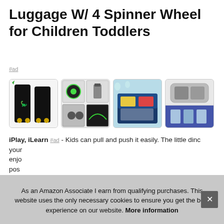Luggage W/ 4 Spinner Wheel for Children Toddlers
#ad
[Figure (photo): Four product images of children's luggage with dinosaur design, showing different angles and features including spinner wheels, open compartments, and luggage on airplane overhead bin.]
iPlay, iLearn #ad - Kids can pull and push it easily. The little dinc your enjo pos can includ
As an Amazon Associate I earn from qualifying purchases. This website uses the only necessary cookies to ensure you get the best experience on our website. More information